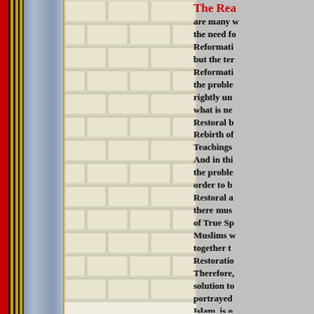[Figure (illustration): Decorative page border with red stripe, gold/black vertical stripes, blue marble border, and brick wall pattern background]
The Rea...
are many w... the need fo... Reformati... but the ter... Reformati... the proble... rightly un... what is ne... Restoral b... Rebirth of... Teachings... And in thi... the proble... order to b... Restoral a... there mus... of True Sp... Muslims w... together t... Restoratio... Therefore,... solution to... portrayed... Islam, is o...